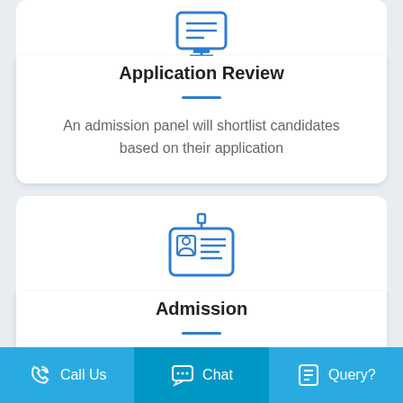[Figure (illustration): Blue icon of a document/application form with lines, partially visible at top]
Application Review
An admission panel will shortlist candidates based on their application
[Figure (illustration): Blue icon of an ID/admission card with photo and lines]
Admission
Call Us  Chat  Query?